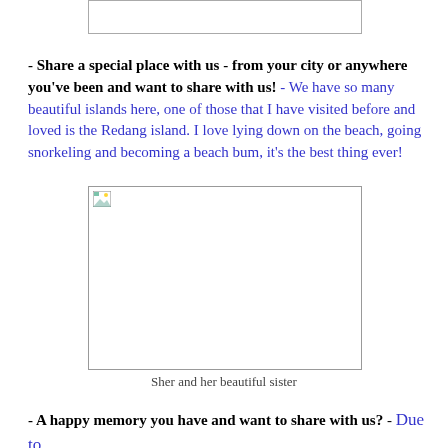[Figure (photo): Top image placeholder box (partially visible at top of page)]
- Share a special place with us - from your city or anywhere you've been and want to share with us! - We have so many beautiful islands here, one of those that I have visited before and loved is the Redang island. I love lying down on the beach, going snorkeling and becoming a beach bum, it's the best thing ever!
[Figure (photo): Photo of Sher and her beautiful sister]
Sher and her beautiful sister
- A happy memory you have and want to share with us? - Due to the long distance relationship I'm having with my bf, we had